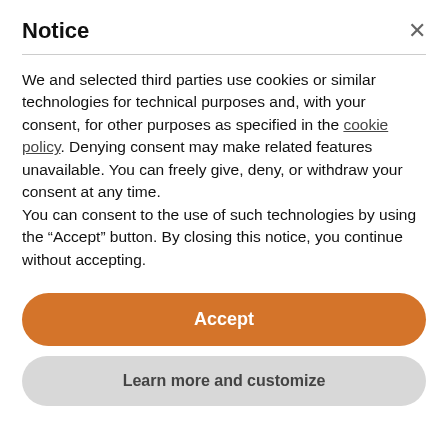Notice
We and selected third parties use cookies or similar technologies for technical purposes and, with your consent, for other purposes as specified in the cookie policy. Denying consent may make related features unavailable. You can freely give, deny, or withdraw your consent at any time.
You can consent to the use of such technologies by using the "Accept" button. By closing this notice, you continue without accepting.
Accept
Learn more and customize
Science is truth found